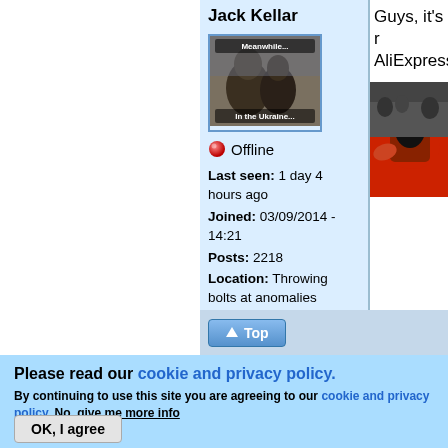Jack Kellar
[Figure (photo): Avatar image of a figure in Ukraine-themed meme with text 'Meanwhile In the Ukraine...']
🔴 Offline
Last seen: 1 day 4 hours ago
Joined: 03/09/2014 - 14:21
Posts: 2218
Location: Throwing bolts at anomalies
Guys, it's r AliExpress
[Figure (photo): Partial image of person on red surface]
⬆ Top
Please read our cookie and privacy policy.
By continuing to use this site you are agreeing to our cookie and privacy policy. No, give me more info
OK, I agree